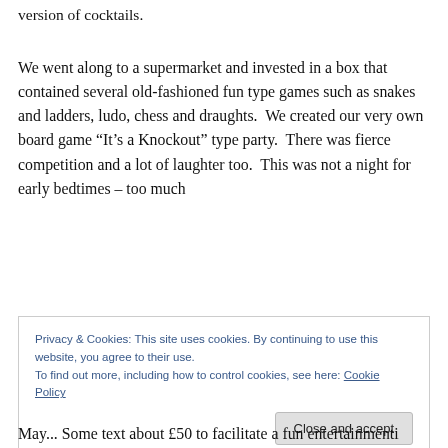version of cocktails.
We went along to a supermarket and invested in a box that contained several old-fashioned fun type games such as snakes and ladders, ludo, chess and draughts.  We created our very own board game “It’s a Knockout” type party.  There was fierce competition and a lot of laughter too.  This was not a night for early bedtimes – too much
Privacy & Cookies: This site uses cookies. By continuing to use this website, you agree to their use.
To find out more, including how to control cookies, see here: Cookie Policy
Close and accept
May... Some text about £50 to facilitate a fun entertainment